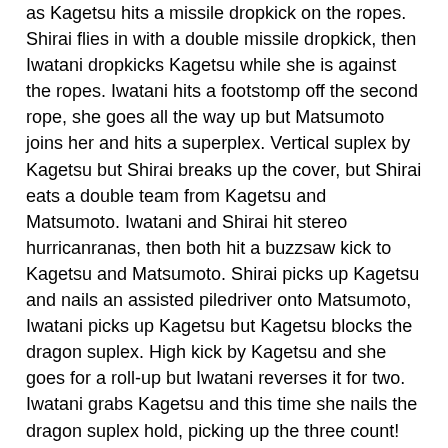as Kagetsu hits a missile dropkick on the ropes. Shirai flies in with a double missile dropkick, then Iwatani dropkicks Kagetsu while she is against the ropes. Iwatani hits a footstomp off the second rope, she goes all the way up but Matsumoto joins her and hits a superplex. Vertical suplex by Kagetsu but Shirai breaks up the cover, but Shirai eats a double team from Kagetsu and Matsumoto. Iwatani and Shirai hit stereo hurricanranas, then both hit a buzzsaw kick to Kagetsu and Matsumoto. Shirai picks up Kagetsu and nails an assisted piledriver onto Matsumoto, Iwatani picks up Kagetsu but Kagetsu blocks the dragon suplex. High kick by Kagetsu and she goes for a roll-up but Iwatani reverses it for two. Iwatani grabs Kagetsu and this time she nails the dragon suplex hold, picking up the three count! Thunder Rock are still the champions!
My only real complaint about this match is it was a little short for a main event tag team championship match, but it was still great. Kagetsu looked like she fit right in here and both teams worked perfectly together, obviously Thunder Rock was top notch but the Freelancer team stayed with them every step of